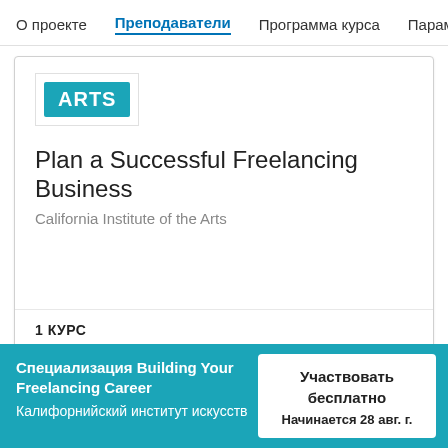О проекте   Преподаватели   Программа курса   Парам
[Figure (logo): ARTS logo — teal background with white bold text reading ARTS]
Plan a Successful Freelancing Business
California Institute of the Arts
1 КУРС
Специализация Building Your Freelancing Career
Калифорнийский институт искусств
Участвовать бесплатно
Начинается 28 авг. г.